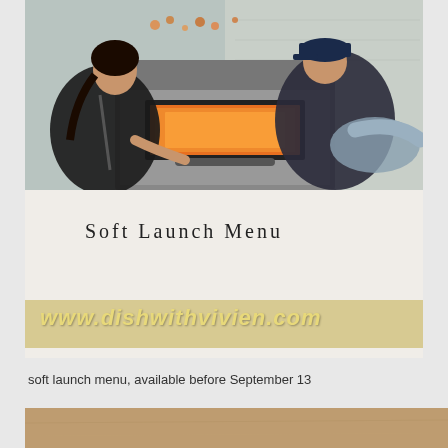[Figure (photo): A photo of people leaning over a commercial kitchen oven/stove with an orange-glowing window, viewed from above. Text overlay reads 'Soft Launch Menu' and 'www.dishwithvivien.com' watermark.]
soft launch menu, available before September 13
[Figure (photo): Partial view of what appears to be a wooden table or surface, bottom of page.]